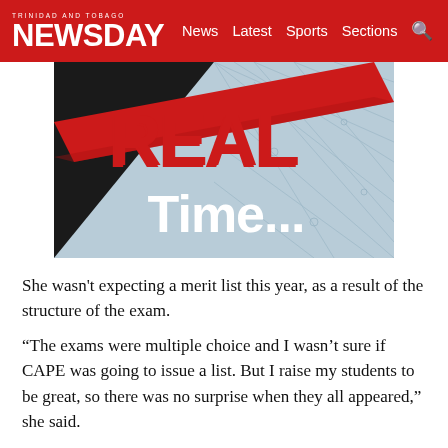TRINIDAD AND TOBAGO NEWSDAY — News  Latest  Sports  Sections
[Figure (illustration): REAL Time... branded graphic with red diagonal banner and stylized text over a blue-gray umbrella/network background]
She wasn't expecting a merit list this year, as a result of the structure of the exam.
“The exams were multiple choice and I wasn’t sure if CAPE was going to issue a list. But I raise my students to be great, so there was no surprise when they all appeared,” she said.